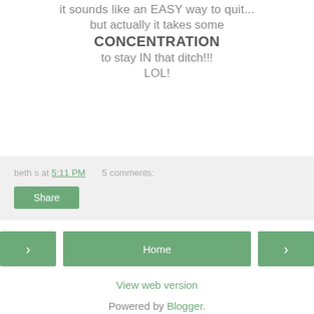it sounds like an EASY way to quit...
but actually it takes some
CONCENTRATION
to stay IN that ditch!!!
LOL!
beth s at 5:11 PM   5 comments:
Share
Home
View web version
Powered by Blogger.